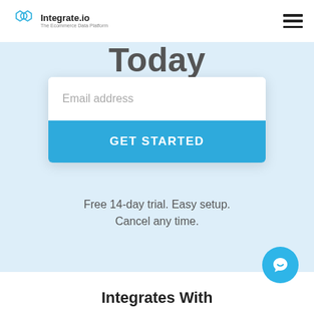Integrate.io — The Ecommerce Data Platform
Today
[Figure (screenshot): Email address input field and GET STARTED button form card on light blue background]
Free 14-day trial. Easy setup. Cancel any time.
Integrates With